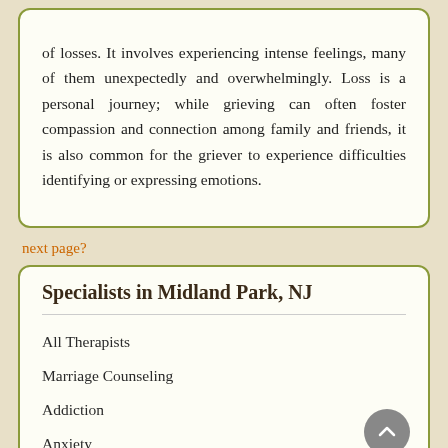of losses. It involves experiencing intense feelings, many of them unexpectedly and overwhelmingly. Loss is a personal journey; while grieving can often foster compassion and connection among family and friends, it is also common for the griever to experience difficulties identifying or expressing emotions.
next page?
Specialists in Midland Park, NJ
All Therapists
Marriage Counseling
Addiction
Anxiety